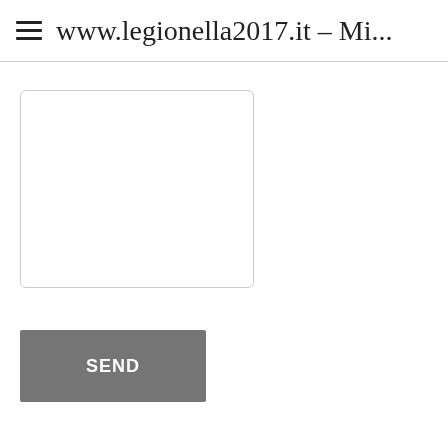≡ www.legionella2017.it – Mi...
[Figure (screenshot): Empty textarea input box with rounded corners and light gray border]
[Figure (screenshot): Gray SEND button]